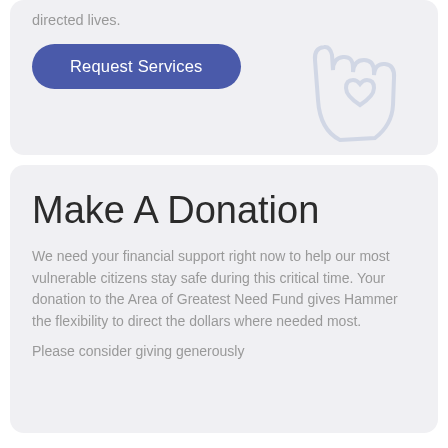directed lives.
[Figure (illustration): Light blue outline illustration of a hand holding a heart shape, watermark style in top right corner]
Request Services
Make A Donation
We need your financial support right now to help our most vulnerable citizens stay safe during this critical time. Your donation to the Area of Greatest Need Fund gives Hammer the flexibility to direct the dollars where needed most.
Please consider giving generously